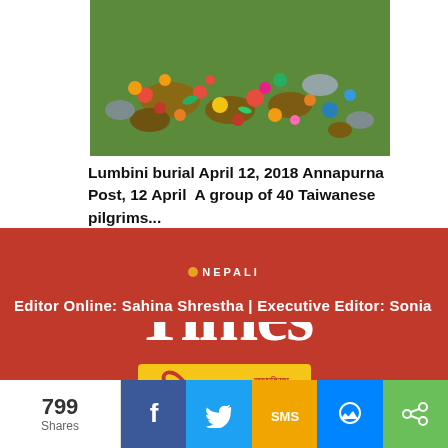[Figure (photo): Photo of colorful scattered flowers, fruits, and offerings on green grass at Lumbini]
Lumbini burial April 12, 2018 Annapurna Post, 12 April  A group of 40 Taiwanese pilgrims...
[Figure (logo): Nepali Times logo in white on red background with dot bullet and 'NEPALI' text above 'Times']
[Figure (logo): Himal Khabarpatrika logo in red Devanagari text on yellow background]
Editor Online: Sahina Shrestha | Executive Editor: Sonia
799 Shares
[Figure (infographic): Social sharing bar with Facebook, Twitter, SMS, Messenger, and Share buttons]